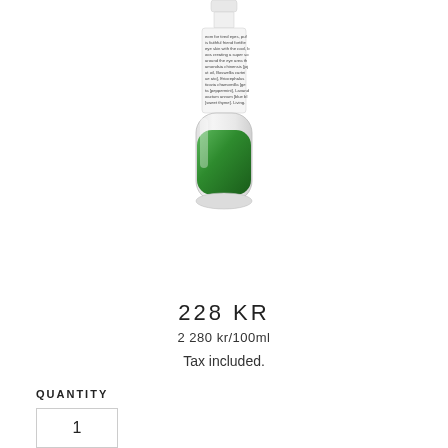[Figure (photo): A small glass bottle/roller with a green liquid and white label with ingredient text visible, photographed upright against a white background.]
228 KR
2 280 kr/100ml
Tax included.
QUANTITY
1